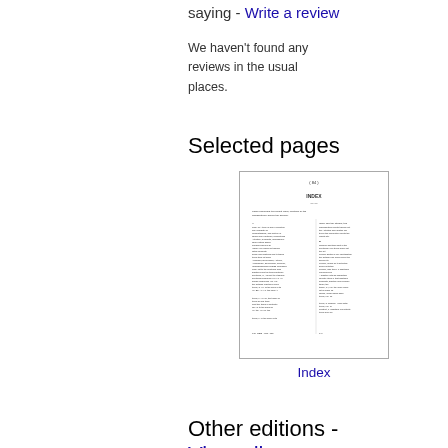saying - Write a review
We haven't found any reviews in the usual places.
Selected pages
[Figure (other): Thumbnail image of a book index page with two columns of index entries]
Index
Other editions -
View all